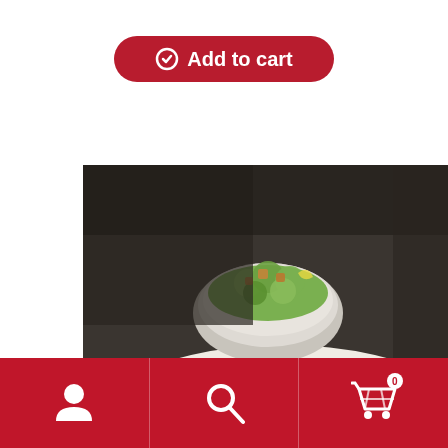[Figure (other): Red 'Add to cart' button with checkmark icon]
[Figure (photo): Close-up photo of chicken Alfredo pasta dish with creamy white sauce, garnished with fresh parsley, served with garlic bread and a side salad in a white bowl]
[Figure (other): Bottom navigation bar with three icons: user/profile icon, search/magnifier icon, and shopping cart icon with badge showing 0]